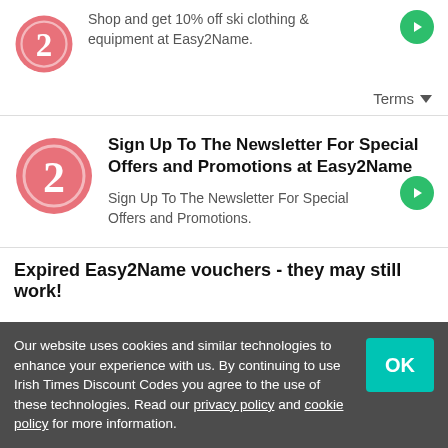[Figure (logo): Easy2Name logo - pink/red circle with number 2]
Shop and get 10% off ski clothing & equipment at Easy2Name.
Terms ∨
[Figure (logo): Easy2Name logo - pink/red circle with number 2]
Sign Up To The Newsletter For Special Offers and Promotions at Easy2Name
Sign Up To The Newsletter For Special Offers and Promotions.
Expired Easy2Name vouchers - they may still work!
Our website uses cookies and similar technologies to enhance your experience with us. By continuing to use Irish Times Discount Codes you agree to the use of these technologies. Read our privacy policy and cookie policy for more information.